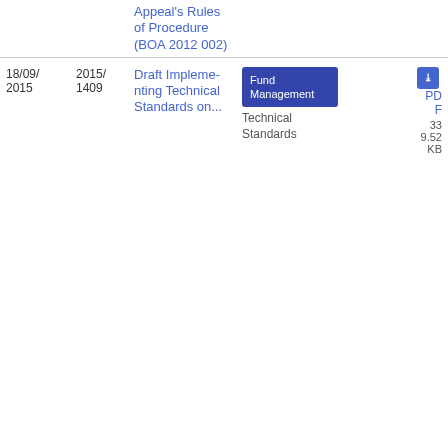| Date | Ref | Title | Category | Type | Action |
| --- | --- | --- | --- | --- | --- |
|  |  | Appeal's Rules of Procedure (BOA 2012002) |  |  |  |
| 18/09/2015 | 2015/1409 | Draft Implementing Technical Standards on... | Fund Management | Technical Standards | PDF 339.52 KB |